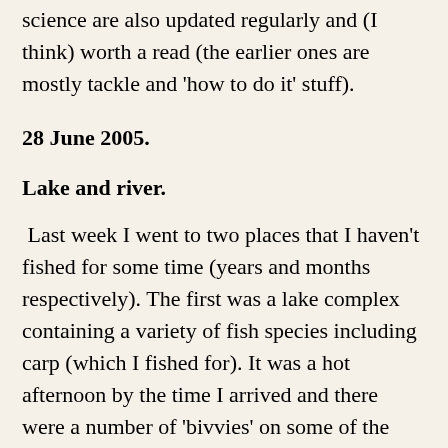science are also updated regularly and (I think) worth a read (the earlier ones are mostly tackle and 'how to do it' stuff).
28 June 2005.
Lake and river.
Last week I went to two places that I haven't fished for some time (years and months respectively). The first was a lake complex containing a variety of fish species including carp (which I fished for). It was a hot afternoon by the time I arrived and there were a number of 'bivvies' on some of the lakes. I chose a small lake with no one about and threw a few bits of bread onto the surface. I waited and watched for a few minutes. Nothing happened. A shoal of rudd found one bit